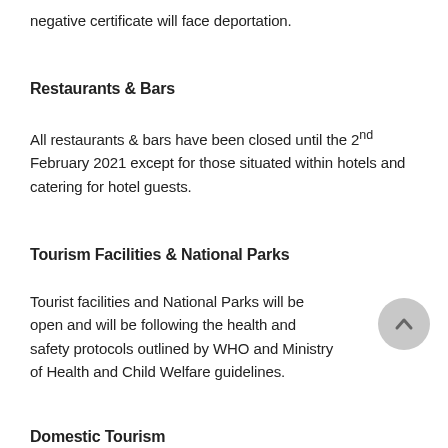negative certificate will face deportation.
Restaurants & Bars
All restaurants & bars have been closed until the 2nd February 2021 except for those situated within hotels and catering for hotel guests.
Tourism Facilities & National Parks
Tourist facilities and National Parks will be open and will be following the health and safety protocols outlined by WHO and Ministry of Health and Child Welfare guidelines.
Domestic Tourism